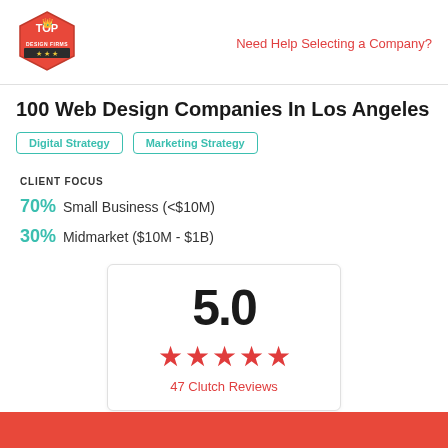Top Design Firms logo | Need Help Selecting a Company?
100 Web Design Companies In Los Angeles
Digital Strategy
Marketing Strategy
CLIENT FOCUS
70% Small Business (<$10M)
30% Midmarket ($10M - $1B)
[Figure (infographic): Rating card showing 5.0 score with 5 red stars and 47 Clutch Reviews text]
47 Clutch Reviews